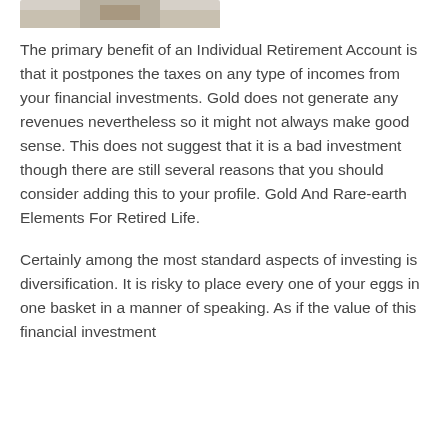[Figure (photo): Partial image visible at top of page, appears to be a photo related to retirement or gold investment]
The primary benefit of an Individual Retirement Account is that it postpones the taxes on any type of incomes from your financial investments. Gold does not generate any revenues nevertheless so it might not always make good sense. This does not suggest that it is a bad investment though there are still several reasons that you should consider adding this to your profile. Gold And Rare-earth Elements For Retired Life.
Certainly among the most standard aspects of investing is diversification. It is risky to place every one of your eggs in one basket in a manner of speaking. As if the value of this financial investment